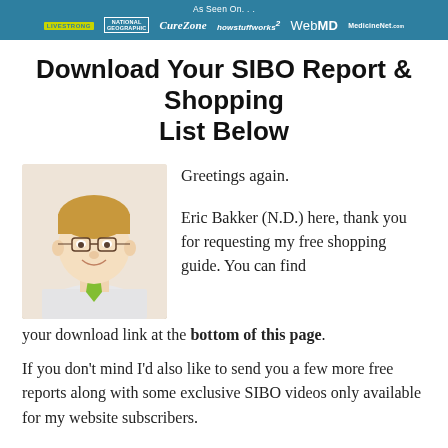As Seen On... LIVESTRONG | NATIONAL GEOGRAPHIC | CureZone | howstuffworks | WebMD | MedicineNet.com
Download Your SIBO Report & Shopping List Below
[Figure (photo): Headshot photo of Eric Bakker, a middle-aged man with blond hair, glasses, white shirt and green tie, smiling]
Greetings again.

Eric Bakker (N.D.) here, thank you for requesting my free shopping guide. You can find your download link at the bottom of this page.
If you don’t mind I’d also like to send you a few more free reports along with some exclusive SIBO videos only available for my website subscribers.